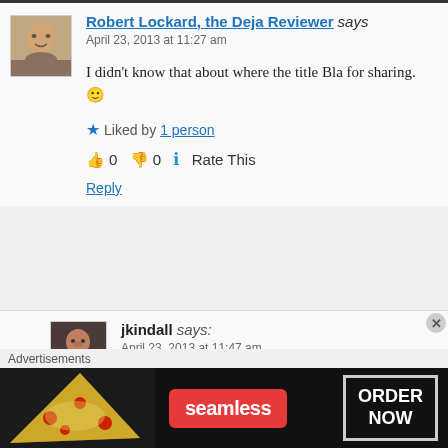Robert Lockard, the Deja Reviewer says
April 23, 2013 at 11:27 am
I didn't know that about where the title Bla for sharing. 🙂
Liked by 1 person
👍 0 👎 0 ℹ Rate This
Reply
jkindall says:
April 23, 2013 at 11:47 am
Actually, I forgot, they do use the
Advertisements